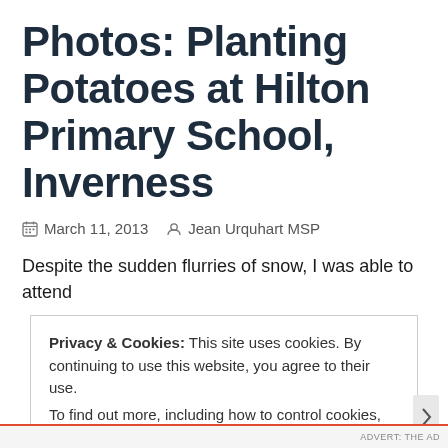Photos: Planting Potatoes at Hilton Primary School, Inverness
March 11, 2013   Jean Urquhart MSP
Despite the sudden flurries of snow, I was able to attend
Privacy & Cookies: This site uses cookies. By continuing to use this website, you agree to their use.
To find out more, including how to control cookies, see here: Cookie Policy
Close and accept